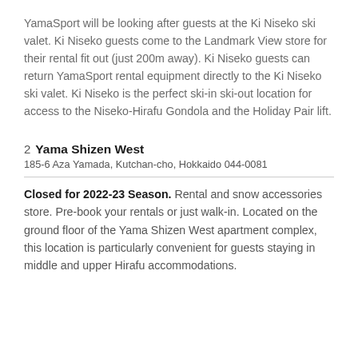YamaSport will be looking after guests at the Ki Niseko ski valet. Ki Niseko guests come to the Landmark View store for their rental fit out (just 200m away). Ki Niseko guests can return YamaSport rental equipment directly to the Ki Niseko ski valet. Ki Niseko is the perfect ski-in ski-out location for access to the Niseko-Hirafu Gondola and the Holiday Pair lift.
2 Yama Shizen West
185-6 Aza Yamada, Kutchan-cho, Hokkaido 044-0081
Closed for 2022-23 Season. Rental and snow accessories store. Pre-book your rentals or just walk-in. Located on the ground floor of the Yama Shizen West apartment complex, this location is particularly convenient for guests staying in middle and upper Hirafu accommodations.